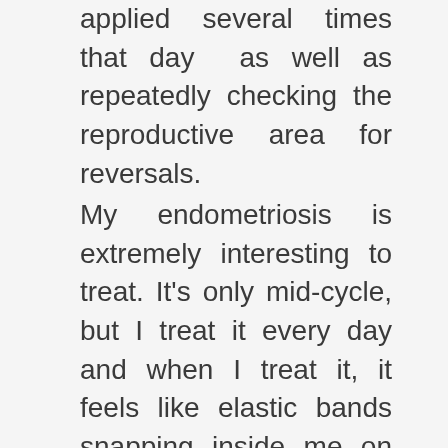applied several times that day  as well as repeatedly checking the reproductive area for reversals.
My endometriosis is extremely interesting to treat. It's only mid-cycle, but I treat it every day and when I treat it, it feels like elastic bands snapping inside me on the laparoscopy scars I have near my ovaries—which can be quite painful but only for a second.
There is no known cause or cure for endometriosis so this will be amazing if it works. I will keep you informed. Every month, I suffer from sickness and diarrhea